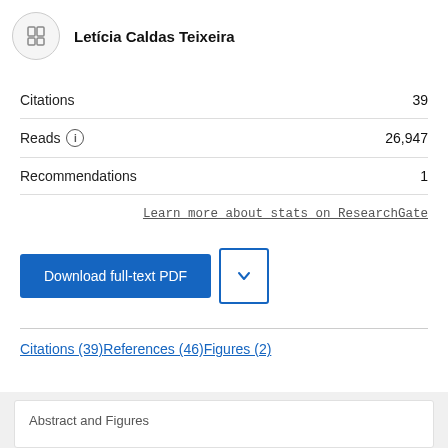Letícia Caldas Teixeira
Citations 39
Reads 26,947
Recommendations 1
Learn more about stats on ResearchGate
Download full-text PDF
Citations (39)   References (46)   Figures (2)
Abstract and Figures